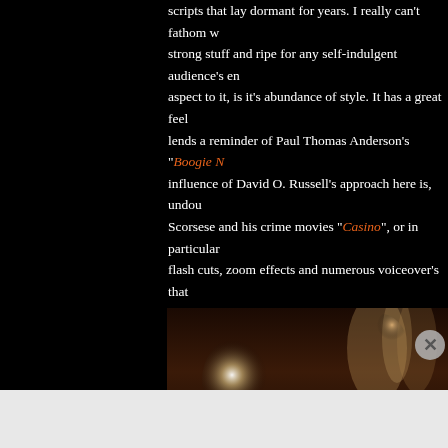scripts that lay dormant for years. I really can't fathom w… strong stuff and ripe for any self-indulgent audience's en… aspect to it, is it's abundance of style. It has a great feel… lends a reminder of Paul Thomas Anderson's "Boogie N…" influence of David O. Russell's approach here is, undou… Scorsese and his crime movies "Casino", or in particular… flash cuts, zoom effects and numerous voiceover's that … unashamed nod to the great auteur's work. Yes, it's bee… is clever enough to know that it will work again. And it do… doesn't manage to achieve, though, is an effective pace… handled but also strangely misleading. The film looks lik… pace is slightly off, leaving you feeling adrift during some… was a shortcoming that I couldn't overlook, it's really the…
[Figure (photo): Movie still showing silhouetted figures against a warm, glowing light with chandelier in background — appears to be from a period/crime film.]
Advertisements
[Figure (screenshot): DuckDuckGo advertisement banner: 'Search, browse, and email with more privacy. All in One Free App' with DuckDuckGo logo on white background.]